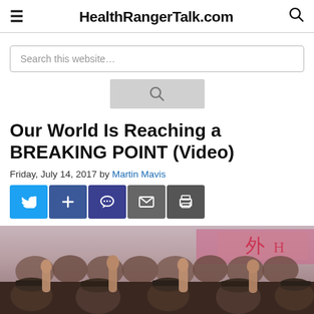HealthRangerTalk.com
Search this website…
Our World Is Reaching a BREAKING POINT (Video)
Friday, July 14, 2017 by Martin Mavis
[Figure (other): Social share buttons: Twitter, Plus, Comment, Email, Print]
[Figure (photo): Crowd of people with raised hands, appearing to be a mass gathering or rally, with people in military-style caps visible in the foreground and colorful banners in the background.]